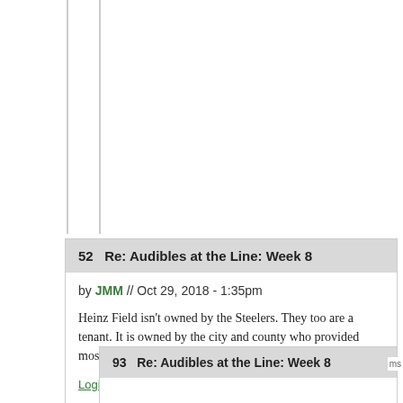52   Re: Audibles at the Line: Week 8
by JMM // Oct 29, 2018 - 1:35pm
Heinz Field isn't owned by the Steelers. They too are a tenant. It is owned by the city and county who provided most of the financing.
Login or register to post comments
93   Re: Audibles at the Line: Week 8